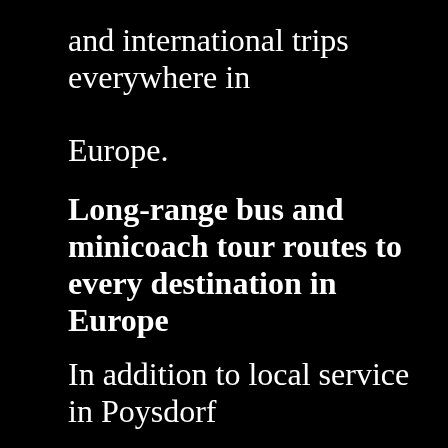and international trips everywhere in

Europe.
Long-range bus and minicoach tour routes to every destination in Europe
In addition to local service in Poysdorf and Lower Austria, our operators can help you hire gran turismo charter coaches for every variety of protracted bus travel routes leaving from Austria.